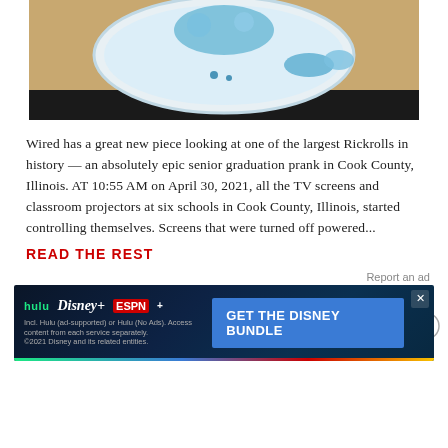[Figure (photo): Close-up photo of a decorative plate or cake topper with blue and white design, on a wooden surface]
Wired has a great new piece looking at one of the largest Rickrolls in history — an absolutely epic senior graduation prank in Cook County, Illinois. AT 10:55 AM on April 30, 2021, all the TV screens and classroom projectors at six schools in Cook County, Illinois, started controlling themselves. Screens that were turned off powered...
READ THE REST
Report an ad
[Figure (infographic): Disney Bundle advertisement banner featuring Hulu, Disney+, and ESPN+ logos with 'GET THE DISNEY BUNDLE' call to action button and fine print text]